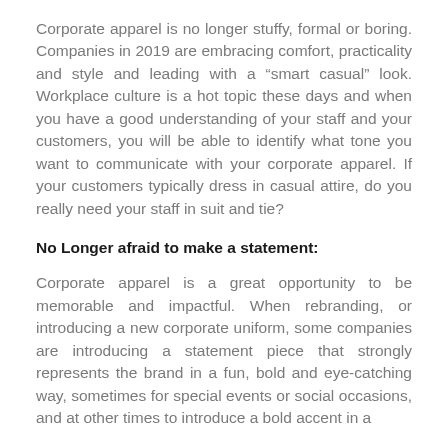Corporate apparel is no longer stuffy, formal or boring. Companies in 2019 are embracing comfort, practicality and style and leading with a “smart casual” look. Workplace culture is a hot topic these days and when you have a good understanding of your staff and your customers, you will be able to identify what tone you want to communicate with your corporate apparel. If your customers typically dress in casual attire, do you really need your staff in suit and tie?
No Longer afraid to make a statement:
Corporate apparel is a great opportunity to be memorable and impactful. When rebranding, or introducing a new corporate uniform, some companies are introducing a statement piece that strongly represents the brand in a fun, bold and eye-catching way, sometimes for special events or social occasions, and at other times to introduce a bold accent in a